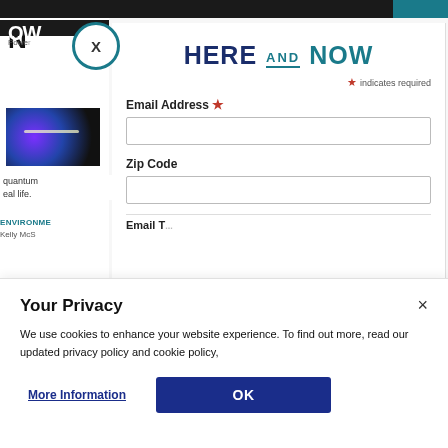[Figure (screenshot): Website background showing 'HERE AND NOW' newsletter signup modal over a news website. Left side shows partial logo, a dark photo, and truncated text 'quantum real life.', 'ENVIRONME', 'Kelly McS'. Top has a dark bar and teal accents. A close X button appears in a teal-bordered circle.]
HERE AND NOW
* indicates required
Email Address *
Zip Code
Your Privacy
We use cookies to enhance your website experience. To find out more, read our updated privacy policy and cookie policy,
More Information
OK